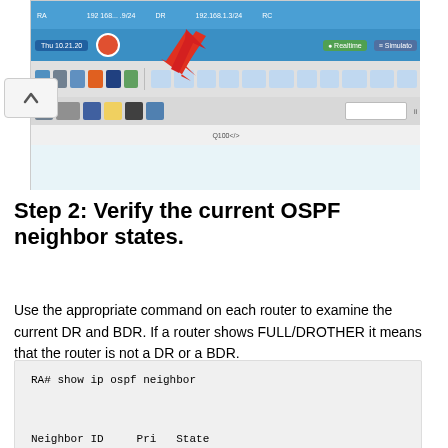[Figure (screenshot): Packet Tracer network simulator screenshot showing toolbar, device panel, and network topology canvas with a red arrow pointing to a selected element]
Step 2: Verify the current OSPF neighbor states.
Use the appropriate command on each router to examine the current DR and BDR. If a router shows FULL/DROTHER it means that the router is not a DR or a BDR.
| RA# show ip ospf neighbor |
|  |
| Neighbor ID     Pri   State |
| Dead Time   Address |
| Interface |